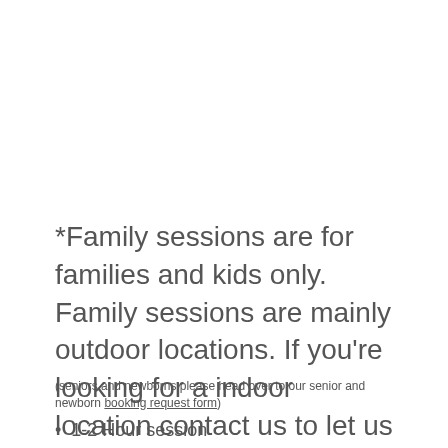*Family sessions are for families and kids only. Family sessions are mainly outdoor locations. If you're looking for a indoor location contact us to let us know.
(seniors and newborns please head over to our senior and newborn booking request form)
1-2 Hour session